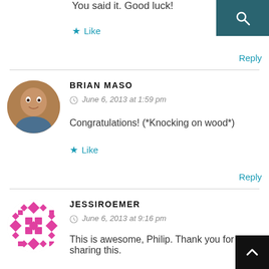You said it. Good luck!
★ Like
Reply
BRIAN MASO
June 6, 2013 at 1:59 pm
Congratulations! (*Knocking on wood*)
★ Like
Reply
JESSIROEMER
June 6, 2013 at 9:16 pm
This is awesome, Philip. Thank you for sharing this.